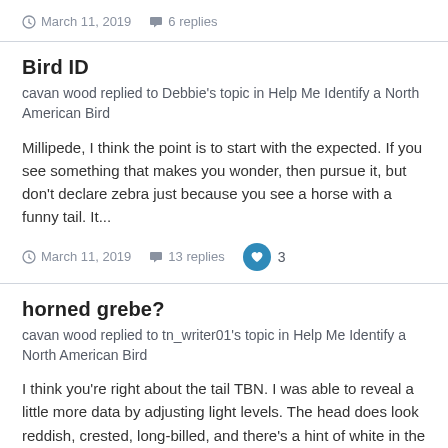March 11, 2019   6 replies
Bird ID
cavan wood replied to Debbie's topic in Help Me Identify a North American Bird
Millipede, I think the point is to start with the expected. If you see something that makes you wonder, then pursue it, but don't declare zebra just because you see a horse with a funny tail. It...
March 11, 2019   13 replies   3
horned grebe?
cavan wood replied to tn_writer01's topic in Help Me Identify a North American Bird
I think you're right about the tail TBN. I was able to reveal a little more data by adjusting light levels. The head does look reddish, crested, long-billed, and there's a hint of white in the chin...